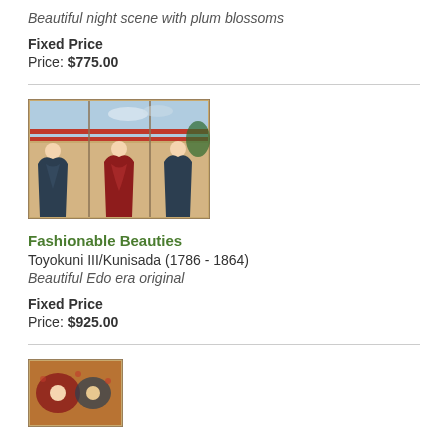Beautiful night scene with plum blossoms
Fixed Price
Price: $775.00
[Figure (photo): Japanese woodblock print triptych showing fashionable beauties in an Edo era setting]
Fashionable Beauties
Toyokuni III/Kunisada (1786 - 1864)
Beautiful Edo era original
Fixed Price
Price: $925.00
[Figure (photo): Partial view of another Japanese woodblock print at the bottom of the page]